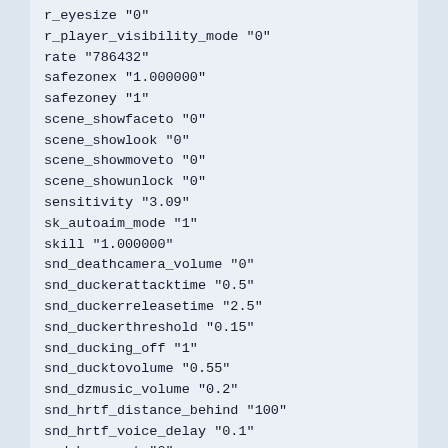r_eyesize "0"
r_player_visibility_mode "0"
rate "786432"
safezonex "1.000000"
safezoney "1"
scene_showfaceto "0"
scene_showlook "0"
scene_showmoveto "0"
scene_showunlock "0"
sensitivity "3.09"
sk_autoaim_mode "1"
skill "1.000000"
snd_deathcamera_volume "0"
snd_duckerattacktime "0.5"
snd_duckerreleasetime "2.5"
snd_duckerthreshold "0.15"
snd_ducking_off "1"
snd_ducktovolume "0.55"
snd_dzmusic_volume "0.2"
snd_hrtf_distance_behind "100"
snd_hrtf_voice_delay "0.1"
snd_hwcompat "0"
snd_mapobjective_volume "0"
snd_menumusic_volume "0"
snd_mix_async "1"
snd_mix_async_onetime_reset "1"
snd_mixahead "0.025"
snd_music_selection "2"
snd_musicvolume_accompaniment "1"